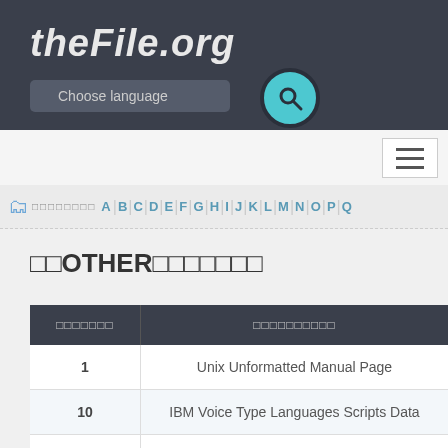theFile.org
[Figure (screenshot): Website header with theFile.org logo, Choose language dropdown, and search button]
Choose language
□□OTHER□□□□□□□
| □□□□□□□ | □□□□□□□□□□ |
| --- | --- |
| 1 | Unix Unformatted Manual Page |
| 10 | IBM Voice Type Languages Scripts Data |
| 100 | Toyota Embroidery Format |
| 101 | Omnipage Ocr |